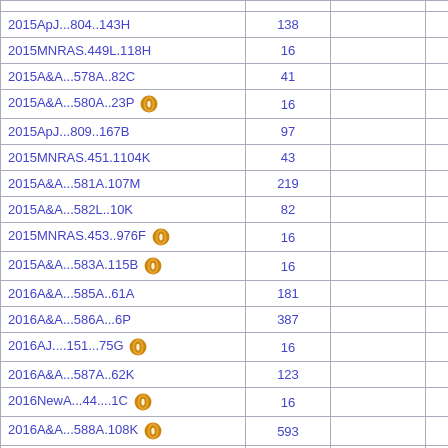| Reference | Count |  |  |
| --- | --- | --- | --- |
| 2015ApJ...804..143H | 138 |  | D |
| 2015MNRAS.449L.118H | 16 |  | D |
| 2015A&A...578A..82C | 41 |  |  |
| 2015A&A...580A..23P [vizier] | 16 |  | D |
| 2015ApJ...809..167B | 97 |  | D |
| 2015MNRAS.451.1104K | 43 |  |  |
| 2015A&A...581A.107M | 219 |  | D |
| 2015A&A...582L..10K | 82 |  |  |
| 2015MNRAS.453..976F [vizier] | 16 |  | D |
| 2015A&A...583A.115B [vizier] | 16 |  | D |
| 2016A&A...585A..61A | 181 |  | D |
| 2016A&A...586A...6P | 387 |  | D |
| 2016AJ....151...75G [vizier] | 16 |  | D |
| 2016A&A...587A..62K | 123 |  |  |
| 2016NewA...44....1C [vizier] | 16 |  | D |
| 2016A&A...588A.108K [vizier] | 593 |  | D |
| 2016ApJ...823..160D [vizier] | 16 |  | D |